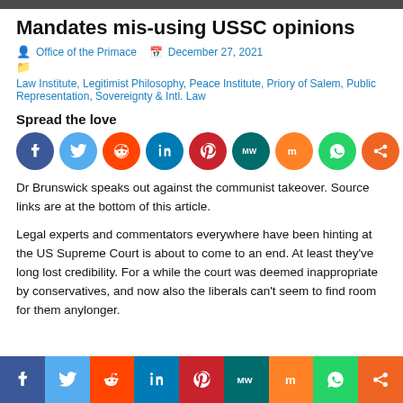Mandates mis-using USSC opinions
Office of the Primace   December 27, 2021
Law Institute, Legitimist Philosophy, Peace Institute, Priory of Salem, Public Representation, Sovereignty & Intl. Law
Spread the love
[Figure (infographic): Social share buttons row: Facebook, Twitter, Reddit, LinkedIn, Pinterest, MeWe, Mix, WhatsApp, Share]
Dr Brunswick speaks out against the communist takeover. Source links are at the bottom of this article.
Legal experts and commentators everywhere have been hinting at the US Supreme Court is about to come to an end. At least they've long lost credibility. For a while the court was deemed inappropriate by conservatives, and now also the liberals can't seem to find room for them anylonger.
[Figure (infographic): Bottom bar with social share icons: Facebook, Twitter, Reddit, LinkedIn, Pinterest, MeWe, Mix, WhatsApp, Share]